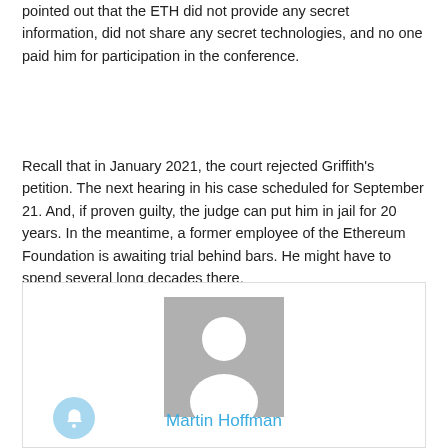pointed out that the ETH did not provide any secret information, did not share any secret technologies, and no one paid him for participation in the conference.
Recall that in January 2021, the court rejected Griffith's petition. The next hearing in his case scheduled for September 21. And, if proven guilty, the judge can put him in jail for 20 years. In the meantime, a former employee of the Ethereum Foundation is awaiting trial behind bars. He might have to spend several long decades there.
[Figure (photo): Author profile placeholder image — a grey square with a white silhouette of a person (head and shoulders). Below the image is the author name 'Martin Hoffman' in cyan/light-blue text, and a blue bell notification button at the bottom-left.]